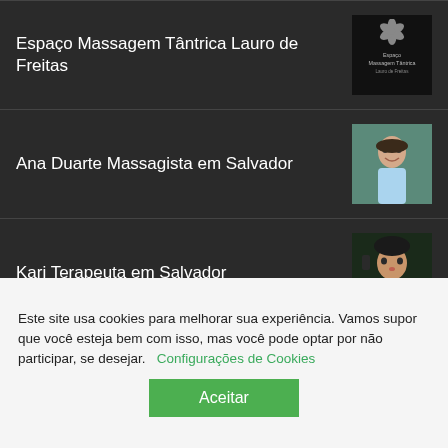Espaço Massagem Tântrica Lauro de Freitas
Ana Duarte Massagista em Salvador
Kari Terapeuta em Salvador
Amanda Terapeuta Tântrica em São Paulo
Este site usa cookies para melhorar sua experiência. Vamos supor que você esteja bem com isso, mas você pode optar por não participar, se desejar. Configurações de Cookies
Aceitar